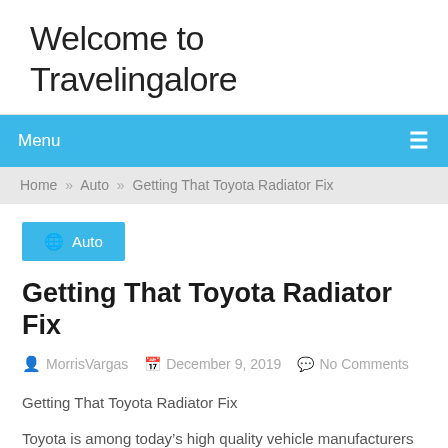Welcome to Travelingalore
Menu
Home » Auto » Getting That Toyota Radiator Fix
Auto
Getting That Toyota Radiator Fix
MorrisVargas   December 9, 2019   No Comments
Getting That Toyota Radiator Fix
Toyota is among today's high quality vehicle manufacturers on the planet. What first began out like a